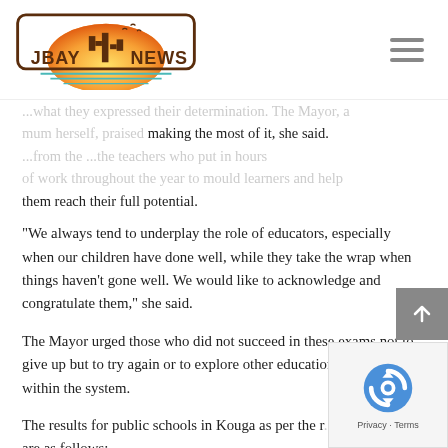[Figure (logo): JBay News logo with desert sunset, cacti, and birds inside a rounded rectangle border]
...what they expressed their determination. The Mayor, a mum herself, praised making the most of it, she said. ...from the...the teachers who put in hours of work throughout the year to mould learners and help them reach their full potential.
“We always tend to underplay the role of educators, especially when our children have done well, while they take the wrap when things haven’t gone well. We would like to acknowledge and congratulate them,” she said.
The Mayor urged those who did not succeed in these exams not to give up but to try again or to explore other educational options within the system.
The results for public schools in Kouga as per the m... are as follows: